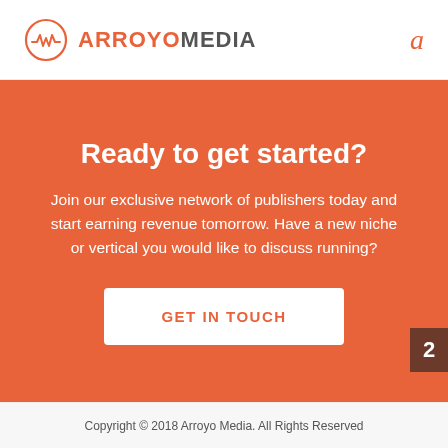ARROYO MEDIA  a
Ready to get started?
Join our exclusive network of publishers today and start earning revenue tomorrow. Have a new niche or vertical you would like to discuss running?
GET IN TOUCH
Copyright © 2018 Arroyo Media. All Rights Reserved